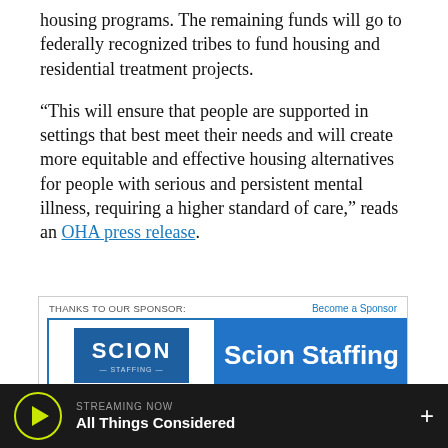housing programs. The remaining funds will go to federally recognized tribes to fund housing and residential treatment projects.
“This will ensure that people are supported in settings that best meet their needs and will create more equitable and effective housing alternatives for people with serious and persistent mental illness, requiring a higher standard of care,” reads an OHA press release.
[Figure (other): Sponsor advertisement box for Scion Staffing, a Proud OPB Sponsor Alliance Member. Contains Scion logo on left and 'Scion Staffing' text on right blue panel, with OPB logo at bottom.]
STREAMING NOW • All Things Considered